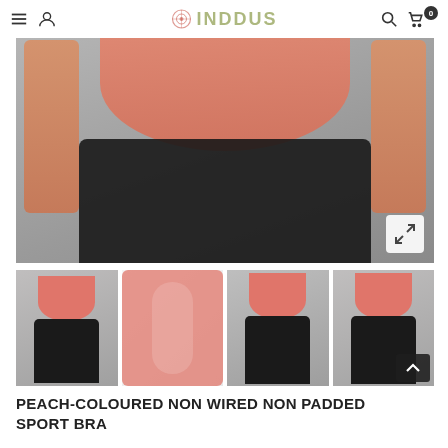INDDUS navigation bar with menu, account, search, and cart icons
[Figure (photo): Main product image: woman wearing a peach/coral sport bra with black high-waist pants, cropped view of torso]
[Figure (photo): Thumbnail 1: full front view of woman in peach sport bra and black leggings on grey background]
[Figure (photo): Thumbnail 2: close-up detail of the peach/coral sport bra neckline and fabric on white background]
[Figure (photo): Thumbnail 3: front three-quarter view of woman wearing peach sport bra and black leggings on grey background]
[Figure (photo): Thumbnail 4: rear view of woman wearing peach sport bra and black leggings on grey background]
PEACH-COLOURED NON WIRED NON PADDED SPORT BRA